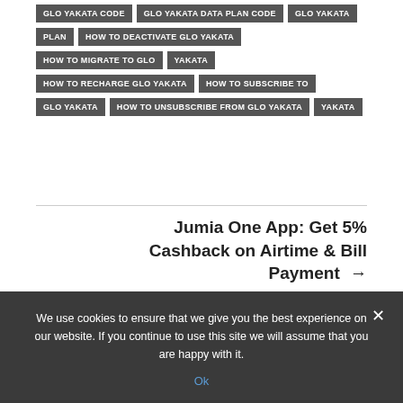GLO YAKATA CODE
GLO YAKATA DATA PLAN CODE
GLO YAKATA PLAN
HOW TO DEACTIVATE GLO YAKATA
HOW TO MIGRATE TO GLO YAKATA
HOW TO RECHARGE GLO YAKATA
HOW TO SUBSCRIBE TO GLO YAKATA
HOW TO UNSUBSCRIBE FROM GLO YAKATA
YAKATA
Jumia One App: Get 5% Cashback on Airtime & Bill Payment →
We use cookies to ensure that we give you the best experience on our website. If you continue to use this site we will assume that you are happy with it.
Ok